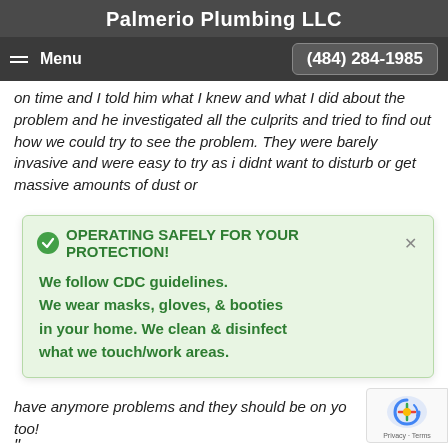Palmerio Plumbing LLC
Menu  (484) 284-1985
on time and I told him what I knew and what I did about the problem and he investigated all the culprits and tried to find out how we could try to see the problem. They were barely invasive and were easy to try as i didnt want to disturb or get massive amounts of dust or
OPERATING SAFELY FOR YOUR PROTECTION!
We follow CDC guidelines.
We wear masks, gloves, & booties in your home. We clean & disinfect what we touch/work areas.
have anymore problems and they should be on yo too!
"